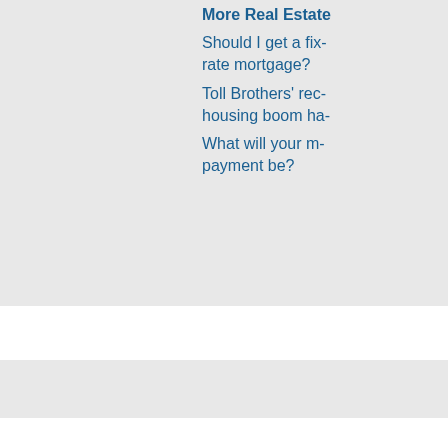More Real Estate
Should I get a fix rate mortgage?
Toll Brothers' rec housing boom ha
What will your m payment be?
[Figure (logo): CNN Money logo — blue CNN box with white CNN text, followed by 'Money' in blue]
Contact Us
Closed Captioning
Site Map
[Figure (infographic): Social media icons: Facebook, Twitter, Instagram, YouTube, RSS]
Most stock quote data provided by BATS. Market indices are